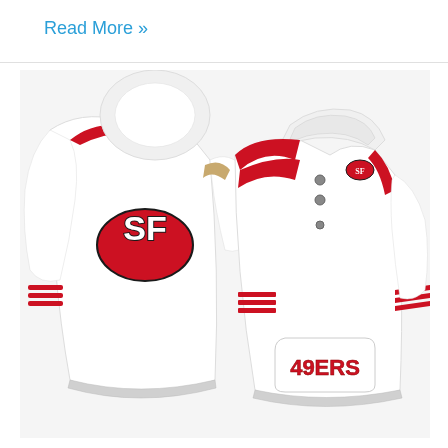Read More »
[Figure (photo): San Francisco 49ers white and red hoodie pullover jacket shown from back and front views. Back view shows the SF 49ers oval logo. Front view shows '49ERS' text on the front pocket. Both views show red shoulder panels and red stripes on the sleeves.]